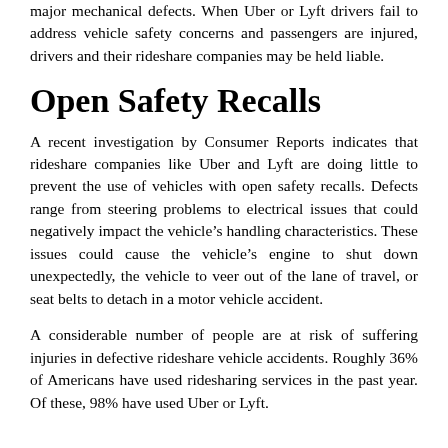major mechanical defects. When Uber or Lyft drivers fail to address vehicle safety concerns and passengers are injured, drivers and their rideshare companies may be held liable.
Open Safety Recalls
A recent investigation by Consumer Reports indicates that rideshare companies like Uber and Lyft are doing little to prevent the use of vehicles with open safety recalls. Defects range from steering problems to electrical issues that could negatively impact the vehicle's handling characteristics. These issues could cause the vehicle's engine to shut down unexpectedly, the vehicle to veer out of the lane of travel, or seat belts to detach in a motor vehicle accident.
A considerable number of people are at risk of suffering injuries in defective rideshare vehicle accidents. Roughly 36% of Americans have used ridesharing services in the past year. Of these, 98% have used Uber or Lyft.